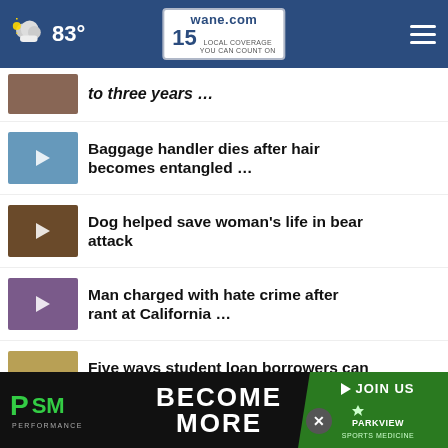wane.com 15 LOCAL COVERAGE YOU CAN COUNT ON | 83°
to three years …
Baggage handler dies after hair becomes entangled …
Dog helped save woman's life in bear attack
Man charged with hate crime after rant at California …
Five ways student loan borrowers can prepare to apply …
Florida boy in months-long battle against rare brain-eating …
[Figure (screenshot): PSM Performance advertisement with 'BECOME MORE' text and Parkview Sports Medicine JOIN US button]